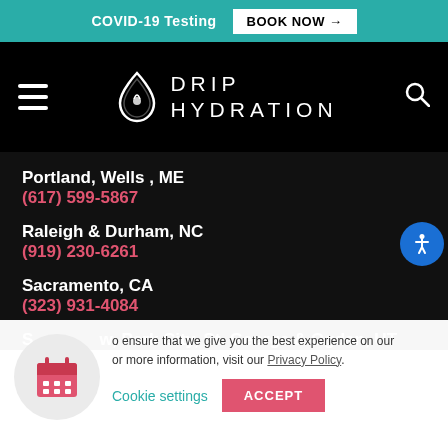COVID-19 Testing  BOOK NOW →
[Figure (logo): Drip Hydration logo with drop icon and text DRIP HYDRATION on black nav bar]
Portland, Wells , ME
(617) 599-5867
Raleigh & Durham, NC
(919) 230-6261
Sacramento, CA
(323) 931-4084
S...w, Park City, St. George & Ogden, UT
o ensure that we give you the best experience on our
or more information, visit our Privacy Policy.
Cookie settings   ACCEPT